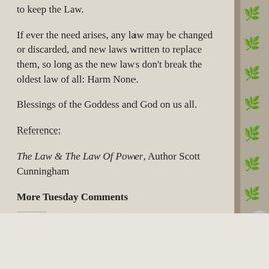to keep the Law.
If ever the need arises, any law may be changed or discarded, and new laws written to replace them, so long as the new laws don't break the oldest law of all: Harm None.
Blessings of the Goddess and God on us all.
Reference:
The Law & The Law Of Power, Author Scott Cunningham
More Tuesday Comments
Advertisements